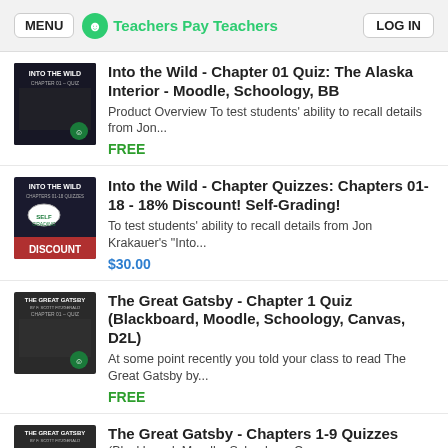MENU | Teachers Pay Teachers | LOG IN
Into the Wild - Chapter 01 Quiz: The Alaska Interior - Moodle, Schoology, BB
Product Overview To test students' ability to recall details from Jon...
FREE
Into the Wild - Chapter Quizzes: Chapters 01-18 - 18% Discount! Self-Grading!
To test students' ability to recall details from Jon Krakauer's "Into...
$30.00
The Great Gatsby - Chapter 1 Quiz (Blackboard, Moodle, Schoology, Canvas, D2L)
At some point recently you told your class to read The Great Gatsby by...
FREE
The Great Gatsby - Chapters 1-9 Quizzes (Blackboard, Moodle, Schoology, Canvas...